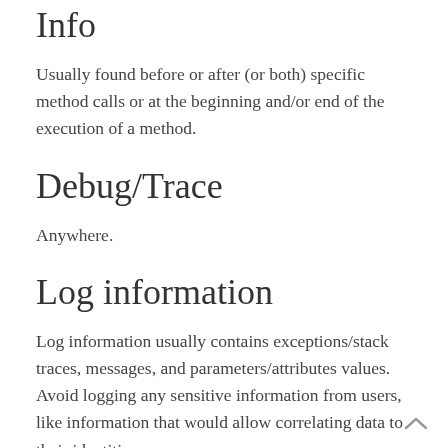Info
Usually found before or after (or both) specific method calls or at the beginning and/or end of the execution of a method.
Debug/Trace
Anywhere.
Log information
Log information usually contains exceptions/stack traces, messages, and parameters/attributes values. Avoid logging any sensitive information from users, like information that would allow correlating data to their identities.